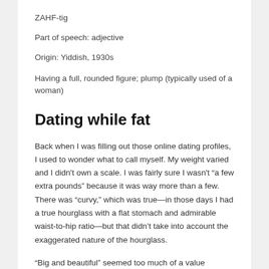ZAHF-tig
Part of speech: adjective
Origin: Yiddish, 1930s
Having a full, rounded figure; plump (typically used of a woman)
Dating while fat
Back when I was filling out those online dating profiles, I used to wonder what to call myself. My weight varied and I didn't own a scale. I was fairly sure I wasn't “a few extra pounds” because it was way more than a few. There was “curvy,” which was true—in those days I had a true hourglass with a flat stomach and admirable waist-to-hip ratio—but that didn’t take into account the exaggerated nature of the hourglass.
“Big and beautiful” seemed too much of a value judgment on my